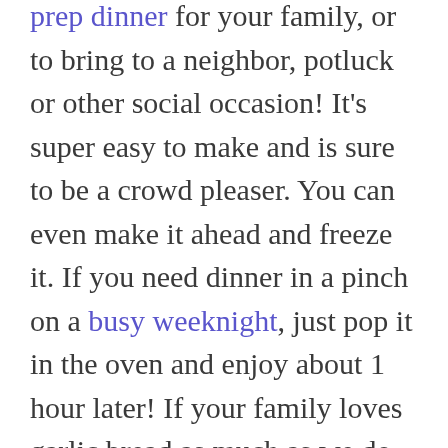prep dinner for your family, or to bring to a neighbor, potluck or other social occasion! It's super easy to make and is sure to be a crowd pleaser. You can even make it ahead and freeze it. If you need dinner in a pinch on a busy weeknight, just pop it in the oven and enjoy about 1 hour later! If your family loves garlic bread as much as we do, this Tuscan Garlic Bread would pair really well with the ziti.